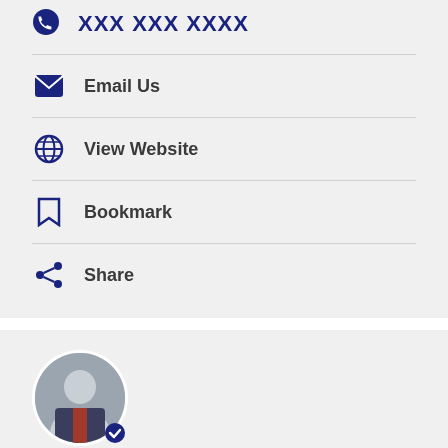Email Us
View Website
Bookmark
Share
[Figure (photo): Circular profile photo of Eric Beasley in a suit, with a blue verified badge icon in the bottom-right corner]
Law Office of Eric Beasley
Personal Injury
Truck Accidents
Wrongful Death
Car Accidents
Motorcycle Accidents